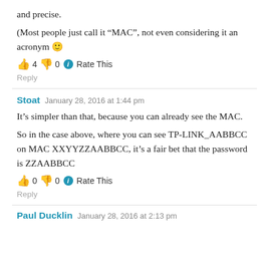and precise.
(Most people just call it “MAC”, not even considering it an acronym 🙂
👍 4 👎 0 ℹ Rate This
Reply
Stoat   January 28, 2016 at 1:44 pm
It’s simpler than that, because you can already see the MAC.
So in the case above, where you can see TP-LINK_AABBCC on MAC XXYYZZAABBCC, it’s a fair bet that the password is ZZAABBCC
👍 0 👎 0 ℹ Rate This
Reply
Paul Ducklin   January 28, 2016 at 2:13 pm